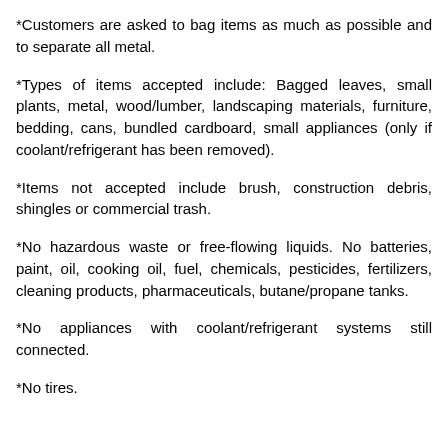*Customers are asked to bag items as much as possible and to separate all metal.
*Types of items accepted include: Bagged leaves, small plants, metal, wood/lumber, landscaping materials, furniture, bedding, cans, bundled cardboard, small appliances (only if coolant/refrigerant has been removed).
*Items not accepted include brush, construction debris, shingles or commercial trash.
*No hazardous waste or free-flowing liquids. No batteries, paint, oil, cooking oil, fuel, chemicals, pesticides, fertilizers, cleaning products, pharmaceuticals, butane/propane tanks.
*No appliances with coolant/refrigerant systems still connected.
*No tires.